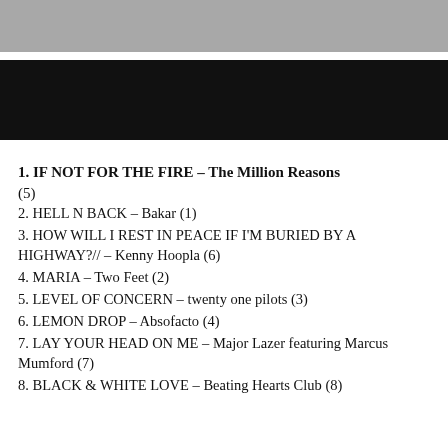[Figure (photo): Partial photo showing legs/feet of people, cropped at top of page]
[Figure (photo): Black rectangle/bar below the photo, likely a redacted or dark image area]
1. IF NOT FOR THE FIRE – The Million Reasons (5)
2. HELL N BACK – Bakar (1)
3. HOW WILL I REST IN PEACE IF I'M BURIED BY A HIGHWAY?// – Kenny Hoopla (6)
4. MARIA – Two Feet (2)
5. LEVEL OF CONCERN – twenty one pilots (3)
6. LEMON DROP – Absofacto (4)
7. LAY YOUR HEAD ON ME – Major Lazer featuring Marcus Mumford (7)
8. BLACK & WHITE LOVE – Beating Hearts Club (8)